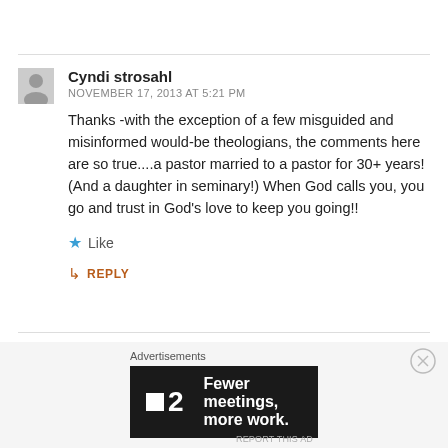Cyndi strosahl
NOVEMBER 17, 2013 AT 5:21 PM
Thanks -with the exception of a few misguided and misinformed would-be theologians, the comments here are so true....a pastor married to a pastor for 30+ years! (And a daughter in seminary!) When God calls you, you go and trust in God’s love to keep you going!!
Like
REPLY
Advertisements
[Figure (screenshot): Advertisement banner for Plan 2: 'Fewer meetings, more work.' dark background with white text and logo]